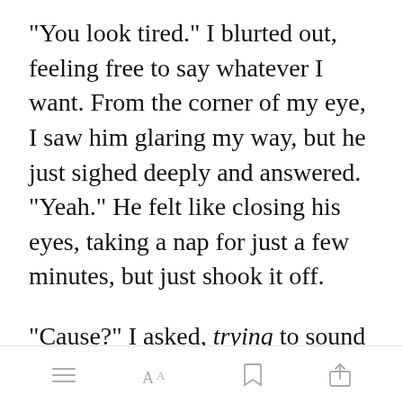“You look tired.” I blurted out, feeling free to say whatever I want. From the corner of my eye, I saw him glaring my way, but he just sighed deeply and answered. “Yeah.” He felt like closing his eyes, taking a nap for just a few minutes, but just shook it off.
“Cause?” I asked, trying to sound interested, not [Open in app] to do this in
[Figure (screenshot): Mobile app toolbar with menu, font size (AA), bookmark, and share icons]